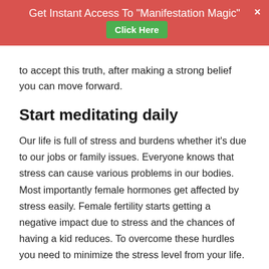Get Instant Access To "Manifestation Magic" [Click Here]
to accept this truth, after making a strong belief you can move forward.
Start meditating daily
Our life is full of stress and burdens whether it's due to our jobs or family issues. Everyone knows that stress can cause various problems in our bodies. Most importantly female hormones get affected by stress easily. Female fertility starts getting a negative impact due to stress and the chances of having a kid reduces. To overcome these hurdles you need to minimize the stress level from your life.